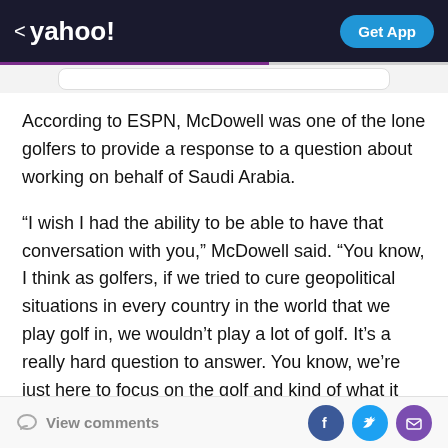< yahoo!   Get App
According to ESPN, McDowell was one of the lone golfers to provide a response to a question about working on behalf of Saudi Arabia.
“I wish I had the ability to be able to have that conversation with you,” McDowell said. “You know, I think as golfers, if we tried to cure geopolitical situations in every country in the world that we play golf in, we wouldn’t play a lot of golf. It’s a really hard question to answer. You know, we’re just here to focus on the golf and kind of what it does globally for the role models that these guys are and that we are, and yeah, that’s a really
View comments